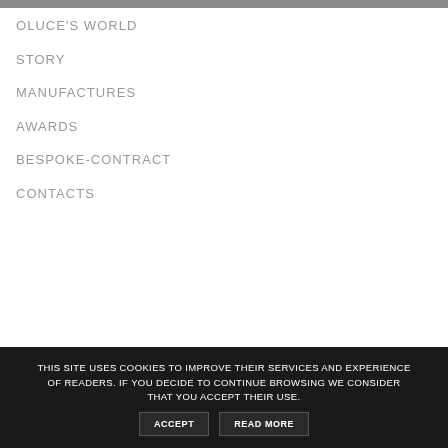OLUCE'S WORLD
STORY
MANUFACTURES
AWARDS
BESPOKE-CONTRACT
CONTACTS
THIS SITE USES COOKIES TO IMPROVE THEIR SERVICES AND EXPERIENCE OF READERS. IF YOU DECIDE TO CONTINUE BROWSING WE CONSIDER THAT YOU ACCEPT THEIR USE.
ACCEPT
READ MORE